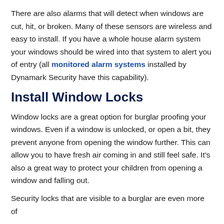There are also alarms that will detect when windows are cut, hit, or broken. Many of these sensors are wireless and easy to install. If you have a whole house alarm system your windows should be wired into that system to alert you of entry (all monitored alarm systems installed by Dynamark Security have this capability).
Install Window Locks
Window locks are a great option for burglar proofing your windows. Even if a window is unlocked, or open a bit, they prevent anyone from opening the window further. This can allow you to have fresh air coming in and still feel safe. It’s also a great way to protect your children from opening a window and falling out.
Security locks that are visible to a burglar are even more of